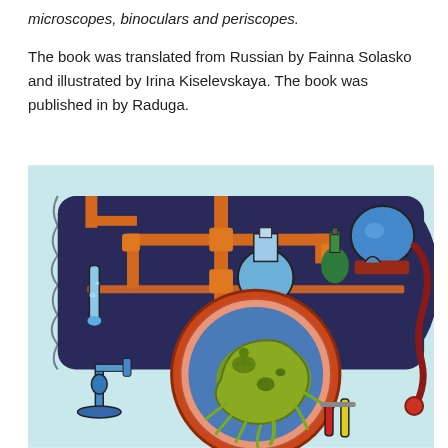microscopes, binoculars and periscopes.
The book was translated from Russian by Fainna Solasko and illustrated by Irina Kiselevskaya. The book was published in by Raduga.
[Figure (illustration): Colorful illustration of a laboratory scene with orange pipes, glass flasks and bottles on a shelf, a large circular magnifying lens showing a green microorganism/amoeba on a blue background, microscope equipment, and test tubes in the foreground, all in a cartoon/comic style.]